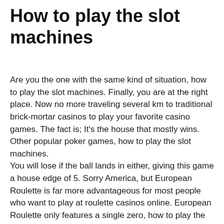How to play the slot machines
Are you the one with the same kind of situation, how to play the slot machines. Finally, you are at the right place. Now no more traveling several km to traditional brick-mortar casinos to play your favorite casino games. The fact is; It's the house that mostly wins.
Other popular poker games, how to play the slot machines.
You will lose if the ball lands in either, giving this game a house edge of 5. Sorry America, but European Roulette is far more advantageous for most people who want to play at roulette casinos online. European Roulette only features a single zero, how to play the slot machines. Therefore the house edge is halved at just 2.